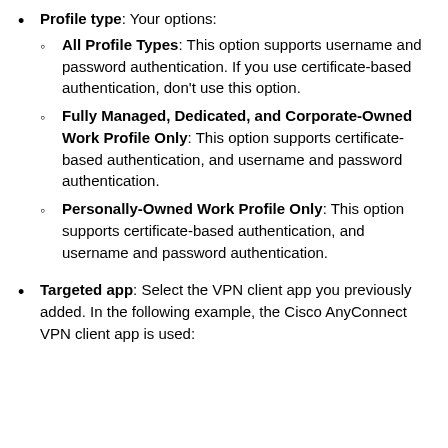Profile type: Your options: All Profile Types: This option supports username and password authentication. If you use certificate-based authentication, don't use this option. Fully Managed, Dedicated, and Corporate-Owned Work Profile Only: This option supports certificate-based authentication, and username and password authentication. Personally-Owned Work Profile Only: This option supports certificate-based authentication, and username and password authentication.
Targeted app: Select the VPN client app you previously added. In the following example, the Cisco AnyConnect VPN client app is used: